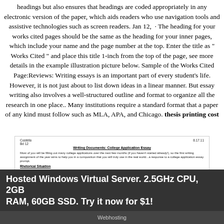headings but also ensures that headings are coded appropriately in any electronic version of the paper, which aids readers who use navigation tools and assistive technologies such as screen readers. Jan 12,  · The heading for your works cited pages should be the same as the heading for your inner pages, which include your name and the page number at the top. Enter the title as " Works Cited " and place this title 1-inch from the top of the page, see more details in the example illustration picture below. Sample of the Works Cited Page:Reviews: Writing essays is an important part of every student's life. However, it is not just about to list down ideas in a linear manner. But essay writing also involves a well-structured outline and format to organize all the research in one place.. Many institutions require a standard format that a paper of any kind must follow such as MLA, APA, and Chicago. thesis printing cost
[Figure (screenshot): Screenshot of a college application essay document with header showing 'Costello, 8.17.11, Bd 12', title 'Writing Documents: College Application Essay', body text and rhetorical situation section with Author, Audience, Context fields.]
Hosted Windows Virtual Server. 2.5GHz CPU, 2GB RAM, 60GB SSD. Try it now for $1!
Webhosting